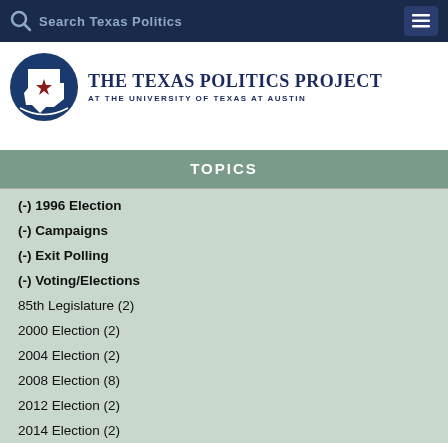Search Texas Politics
[Figure (logo): The Texas Politics Project at the University of Texas at Austin logo with circular Texas map icon featuring a star]
TOPICS
(-) 1996 Election
(-) Campaigns
(-) Exit Polling
(-) Voting/Elections
85th Legislature (2)
2000 Election (2)
2004 Election (2)
2008 Election (8)
2012 Election (2)
2014 Election (2)